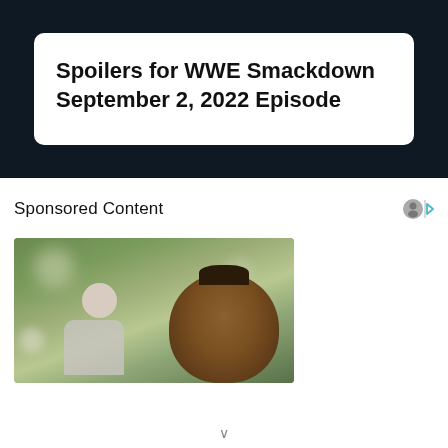Spoilers for WWE Smackdown September 2, 2022 Episode
Sponsored Content
[Figure (photo): Photo of a woman with braided hair in the foreground, an older white-haired man visible behind her, with a green bokeh outdoor background]
[Figure (photo): Partial image showing a warm brown wooden background with what appears to be a cartoon robot or character peeking from the bottom right]